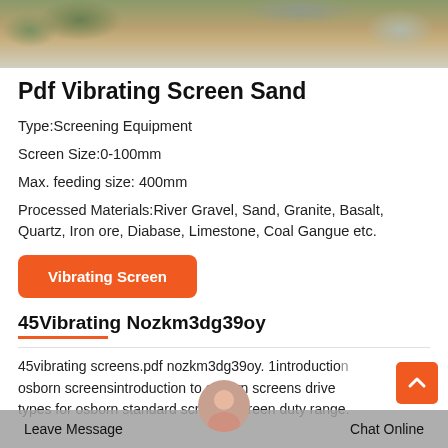[Figure (photo): Photograph of gravel, sand, and aggregate materials used in vibrating screen processing]
Pdf Vibrating Screen Sand
Type:Screening Equipment
Screen Size:0-100mm
Max. feeding size: 400mm
Processed Materials:River Gravel, Sand, Granite, Basalt, Quartz, Iron ore, Diabase, Limestone, Coal Gangue etc.
Vibrating Screen
45Vibrating Nozkm3dg39oy
45vibrating screens.pdf nozkm3dg39oy. 1introduction osborn screensintroduction to osborn screens drive types for osborn standard screens screen duty range.
Leave Message   Chat Online